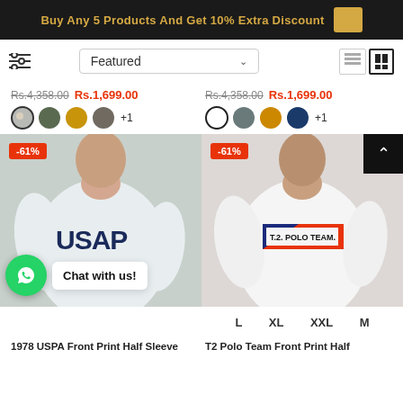Buy Any 5 Products And Get 10% Extra Discount
Featured
Rs.4,358.00  Rs.1,699.00
Rs.4,358.00  Rs.1,699.00
[Figure (photo): Man wearing light blue USAP printed t-shirt with -61% discount badge]
[Figure (photo): Man wearing white T2 Polo Team printed t-shirt with -61% discount badge]
L  XL  XXL  M
1978 USPA Front Print Half Sleeve
T2 Polo Team Front Print Half